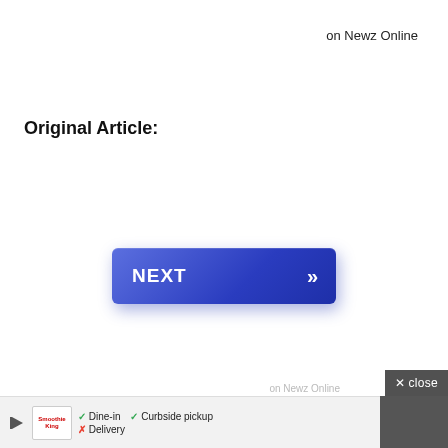on Newz Online
Original Article:
[Figure (other): Blue NEXT button with double chevron arrows, gradient blue background]
× close
on Newz Online
[Figure (infographic): Advertisement bar: Smoothie King logo, Dine-in checkmark, Curbside pickup checkmark, Delivery X, navigation arrow icon]